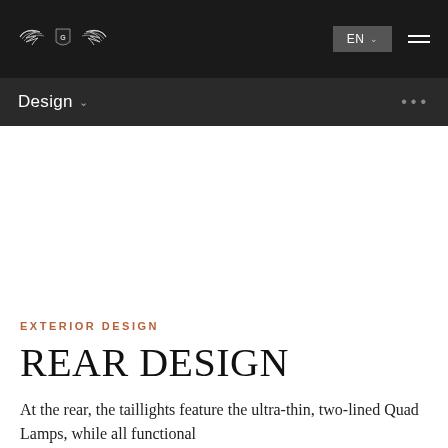[Figure (logo): Genesis winged logo in white on dark background]
EN | menu
Design
EXTERIOR DESIGN
REAR DESIGN
At the rear, the taillights feature the ultra-thin, two-lined Quad Lamps, while all functional